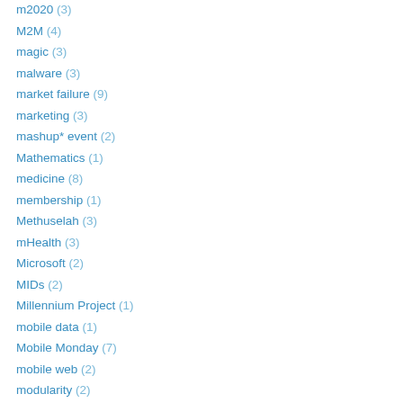m2020 (3)
M2M (4)
magic (3)
malware (3)
market failure (9)
marketing (3)
mashup* event (2)
Mathematics (1)
medicine (8)
membership (1)
Methuselah (3)
mHealth (3)
Microsoft (2)
MIDs (2)
Millennium Project (1)
mobile data (1)
Mobile Monday (7)
mobile web (2)
modularity (2)
Moore's Law (7)